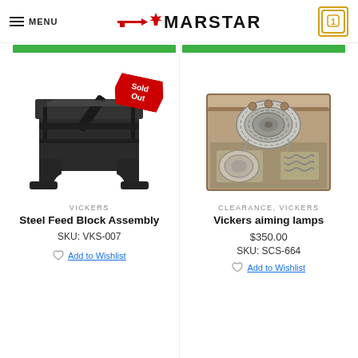MENU | MARSTAR | Cart: 1
[Figure (photo): Steel Feed Block Assembly - dark metal mechanical part, with 'Sold Out' badge overlay]
VICKERS
Steel Feed Block Assembly
SKU: VKS-007
Add to Wishlist
[Figure (photo): Vickers aiming lamps - wooden box open containing coiled wire/cable and lamp components]
CLEARANCE, VICKERS
Vickers aiming lamps
$350.00
SKU: SCS-664
Add to Wishlist